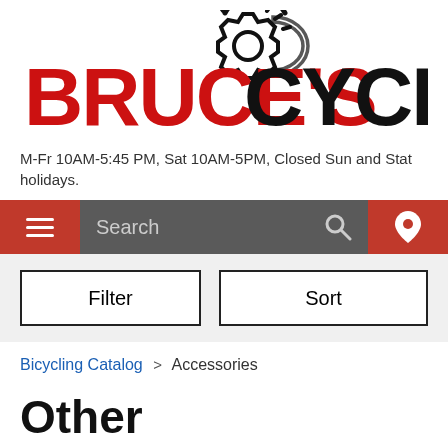[Figure (logo): Bruce's Cycleworks logo with gear icon above text. 'Bruce's' in red, 'CYCLEWORKS' in black, bold serif/display font.]
M-Fr 10AM-5:45 PM, Sat 10AM-5PM, Closed Sun and Stat holidays.
[Figure (screenshot): Navigation bar with hamburger menu on red background, search bar on grey background, and location pin icon on red background.]
[Figure (screenshot): Filter and Sort buttons on a light grey bar.]
Bicycling Catalog > Accessories
Other
Park Tool